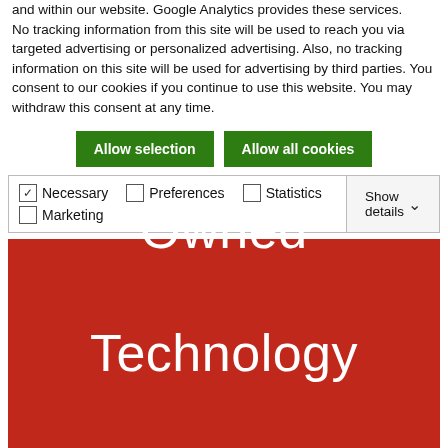and within our website. Google Analytics provides these services. No tracking information from this site will be used to reach you via targeted advertising or personalized advertising. Also, no tracking information on this site will be used for advertising by third parties. You consent to our cookies if you continue to use this website. You may withdraw this consent at any time.
Allow selection | Allow all cookies
| Necessary | Preferences | Statistics | Show details |
| --- | --- | --- | --- |
| ✓ Necessary | Preferences | Statistics | Show details |
| Marketing |  |  |  |
[Figure (other): Red banner with white text reading 'Owned Technology Vendors']
Sensitive Personal and